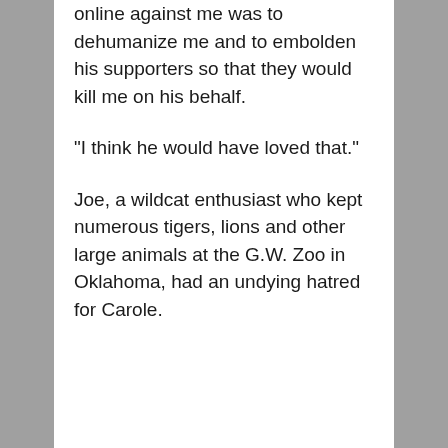online against me was to dehumanize me and to embolden his supporters so that they would kill me on his behalf.
"I think he would have loved that."
Joe, a wildcat enthusiast who kept numerous tigers, lions and other large animals at the G.W. Zoo in Oklahoma, had an undying hatred for Carole.